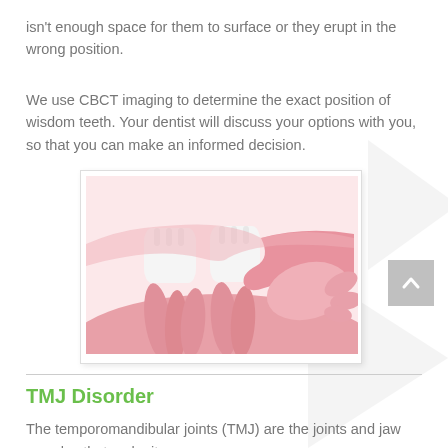isn't enough space for them to surface or they erupt in the wrong position.
We use CBCT imaging to determine the exact position of wisdom teeth. Your dentist will discuss your options with you, so that you can make an informed decision.
[Figure (illustration): Medical illustration showing a cross-section of gums with two normal white teeth and their pink roots on the left, and an impacted wisdom tooth lying horizontally beneath the gum on the right, shown in pink without a white crown visible above the gumline.]
TMJ Disorder
The temporomandibular joints (TMJ) are the joints and jaw muscles that make it